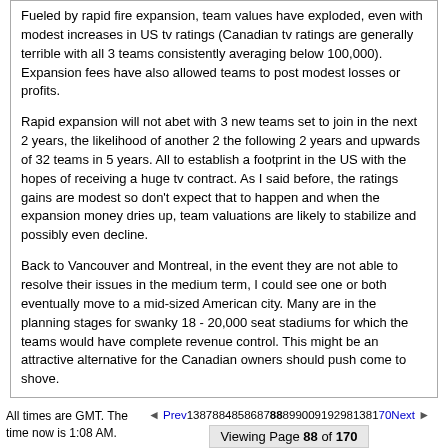Fueled by rapid fire expansion, team values have exploded, even with modest increases in US tv ratings (Canadian tv ratings are generally terrible with all 3 teams consistently averaging below 100,000). Expansion fees have also allowed teams to post modest losses or profits.
Rapid expansion will not abet with 3 new teams set to join in the next 2 years, the likelihood of another 2 the following 2 years and upwards of 32 teams in 5 years. All to establish a footprint in the US with the hopes of receiving a huge tv contract. As I said before, the ratings gains are modest so don't expect that to happen and when the expansion money dries up, team valuations are likely to stabilize and possibly even decline.
Back to Vancouver and Montreal, in the event they are not able to resolve their issues in the medium term, I could see one or both eventually move to a mid-sized American city. Many are in the planning stages for swanky 18 - 20,000 seat stadiums for which the teams would have complete revenue control. This might be an attractive alternative for the Canadian owners should push come to shove.
All times are GMT. The time now is 1:08 AM.
Prev13878848586878889900919298138170Next   Viewing Page 88 of 170
Show 50 post(s) from this thread on one page
Powered by vBulletin® Version 3.8.7
Copyright ©2000 - 2022, vBulletin Solutions, Inc.